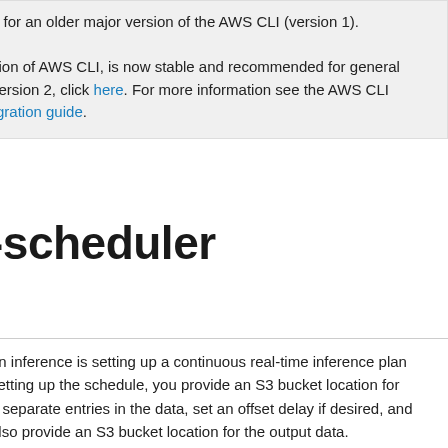n for an older major version of the AWS CLI (version 1). sion of AWS CLI, is now stable and recommended for general version 2, click here. For more information see the AWS CLI rgration guide.
-scheduler
an inference is setting up a continuous real-time inference plan setting up the schedule, you provide an S3 bucket location for n separate entries in the data, set an offset delay if desired, and also provide an S3 bucket location for the output data.